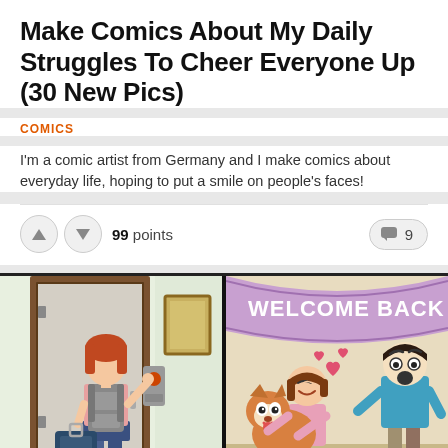Make Comics About My Daily Struggles To Cheer Everyone Up (30 New Pics)
COMICS
I'm a comic artist from Germany and I make comics about everyday life, hoping to put a smile on people's faces!
99 points
9
[Figure (illustration): Two-panel comic strip. Left panel: a girl with red hair and a backpack pressing a doorbell at a front door with luggage beside her. Right panel: the same girl hugging a dog with hearts floating around while a man stands in the background looking surprised, under a 'WELCOME BACK' banner.]